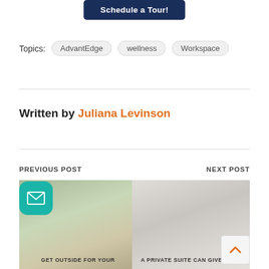[Figure (other): Dark navy blue button labeled 'Schedule a Tour!']
Topics:  AdvantEdge  wellness  Workspace
Written by Juliana Levinson
PREVIOUS POST
NEXT POST
[Figure (photo): Previous post thumbnail image showing outdoor scene with sneakers on rock]
[Figure (photo): Next post thumbnail image showing people signing documents at a table]
GET OUTSIDE FOR YOUR
A PRIVATE SUITE CAN GIVE YOUR